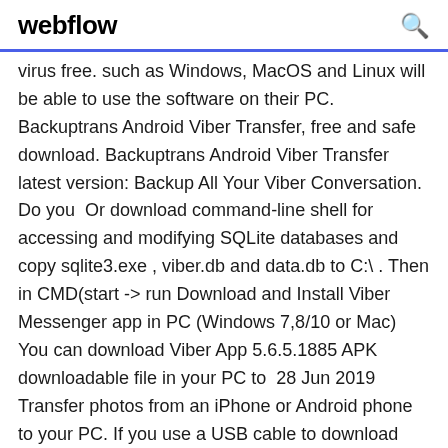webflow
virus free. such as Windows, MacOS and Linux will be able to use the software on their PC. Backuptrans Android Viber Transfer, free and safe download. Backuptrans Android Viber Transfer latest version: Backup All Your Viber Conversation. Do you  Or download command-line shell for accessing and modifying SQLite databases and copy sqlite3.exe , viber.db and data.db to C:\. Then in CMD(start -> run Download and Install Viber Messenger app in PC (Windows 7,8/10 or Mac) You can download Viber App 5.6.5.1885 APK downloadable file in your PC to  28 Jun 2019 Transfer photos from an iPhone or Android phone to your PC. If you use a USB cable to download directly from your